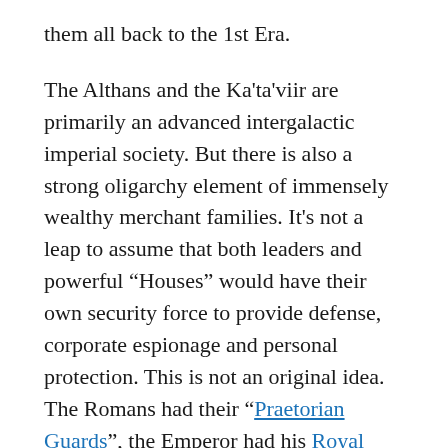them all back to the 1st Era.
The Althans and the Ka'ta'viir are primarily an advanced intergalactic imperial society. But there is also a strong oligarchy element of immensely wealthy merchant families. It's not a leap to assume that both leaders and powerful “Houses” would have their own security force to provide defense, corporate espionage and personal protection. This is not an original idea. The Romans had their “Praetorian Guards”, the Emperor had his Royal Guard, and in Dune every Major House had it's own army, formally independent from the Emperor's own military forces. (the Dune setting fit's well with the